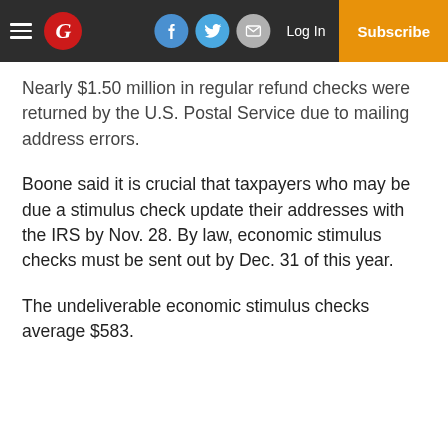[Figure (screenshot): Newspaper website navigation bar with hamburger menu, red G logo, Facebook, Twitter, and email social share buttons, Log In text link, and orange Subscribe button]
Nearly $1.50 million in regular refund checks were returned by the U.S. Postal Service due to mailing address errors.
Boone said it is crucial that taxpayers who may be due a stimulus check update their addresses with the IRS by Nov. 28. By law, economic stimulus checks must be sent out by Dec. 31 of this year.
The undeliverable economic stimulus checks average $583.